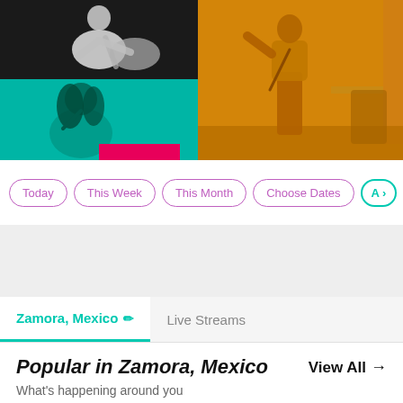[Figure (photo): Hero banner with two concert photos: left side shows a black-and-white guitarist on top and a teal-tinted female singer on bottom, right side shows a golden-yellow-tinted performer on stage with microphone, with purple accent on right edge and cyan accent bar.]
Today
This Week
This Month
Choose Dates
A >
Zamora, Mexico
Live Streams
Popular in Zamora, Mexico
What's happening around you
View All →